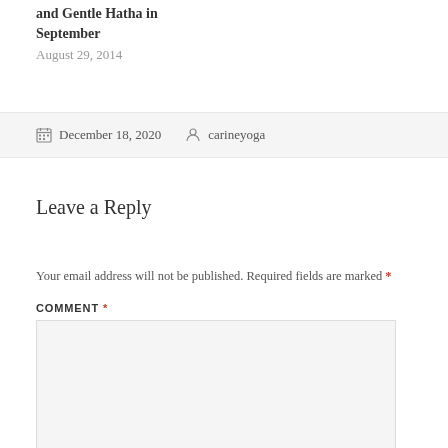and Gentle Hatha in September
August 29, 2014
December 18, 2020  carineyoga
Leave a Reply
Your email address will not be published. Required fields are marked *
COMMENT *